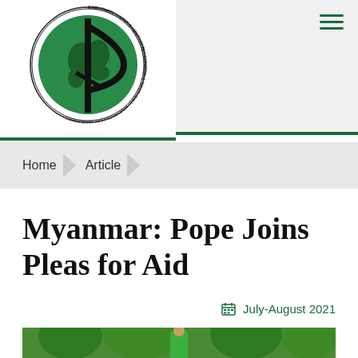[Figure (logo): Maryknoll Sisters, Maryknoll Fathers & Brothers, Maryknoll Lay Missioners circular logo with world globe and Chi-Rho symbol]
Home > Article
Myanmar: Pope Joins Pleas for Aid
July-August 2021
[Figure (photo): A person wearing a green outfit standing outdoors among green trees and vegetation]